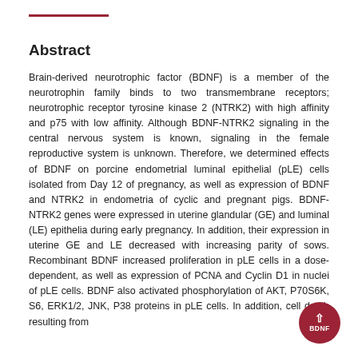Abstract
Brain-derived neurotrophic factor (BDNF) is a member of the neurotrophin family binds to two transmembrane receptors; neurotrophic receptor tyrosine kinase 2 (NTRK2) with high affinity and p75 with low affinity. Although BDNF-NTRK2 signaling in the central nervous system is known, signaling in the female reproductive system is unknown. Therefore, we determined effects of BDNF on porcine endometrial luminal epithelial (pLE) cells isolated from Day 12 of pregnancy, as well as expression of BDNF and NTRK2 in endometria of cyclic and pregnant pigs. BDNF-NTRK2 genes were expressed in uterine glandular (GE) and luminal (LE) epithelia during early pregnancy. In addition, their expression in uterine GE and LE decreased with increasing parity of sows. Recombinant BDNF increased proliferation in pLE cells in a dose-dependent, as well as expression of PCNA and Cyclin D1 in nuclei of pLE cells. BDNF also activated phosphorylation of AKT, P70S6K, S6, ERK1/2, JNK, P38 proteins in pLE cells. In addition, cell death resulting from...